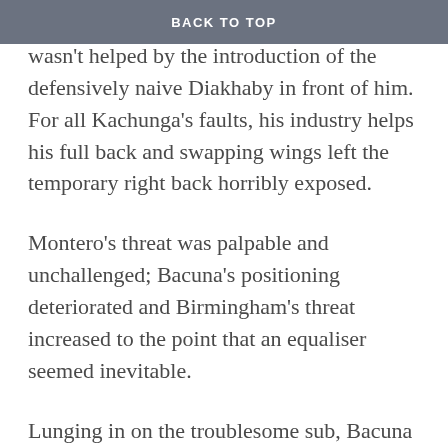BACK TO TOP
Bacuna simply couldn't handle Montero and wasn't helped by the introduction of the defensively naive Diakhaby in front of him. For all Kachunga's faults, his industry helps his full back and swapping wings left the temporary right back horribly exposed.
Montero's threat was palpable and unchallenged; Bacuna's positioning deteriorated and Birmingham's threat increased to the point that an equaliser seemed inevitable.
Lunging in on the troublesome sub, Bacuna gave away a cheap free kick on the left. Rather than take it himself, Montero took up an unmarked position in front of the six yard box and despite some pointing out of the danger by Hogg and